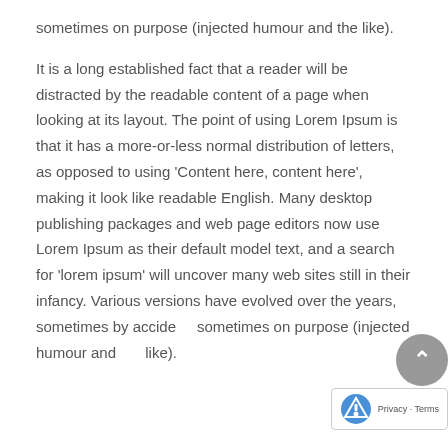sometimes on purpose (injected humour and the like).

It is a long established fact that a reader will be distracted by the readable content of a page when looking at its layout. The point of using Lorem Ipsum is that it has a more-or-less normal distribution of letters, as opposed to using 'Content here, content here', making it look like readable English. Many desktop publishing packages and web page editors now use Lorem Ipsum as their default model text, and a search for 'lorem ipsum' will uncover many web sites still in their infancy. Various versions have evolved over the years, sometimes by accident, sometimes on purpose (injected humour and the like).